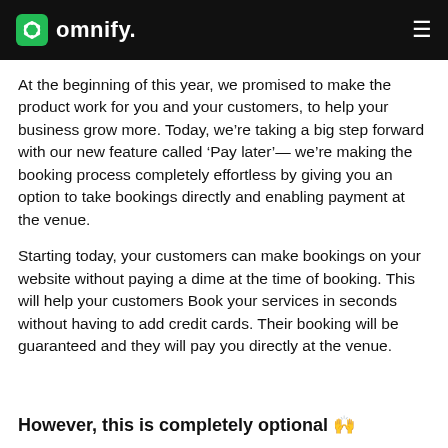omnify.
At the beginning of this year, we promised to make the product work for you and your customers, to help your business grow more. Today, we’re taking a big step forward with our new feature called ‘Pay later’— we’re making the booking process completely effortless by giving you an option to take bookings directly and enabling payment at the venue.
Starting today, your customers can make bookings on your website without paying a dime at the time of booking. This will help your customers Book your services in seconds without having to add credit cards. Their booking will be guaranteed and they will pay you directly at the venue.
However, this is completely optional 🙌